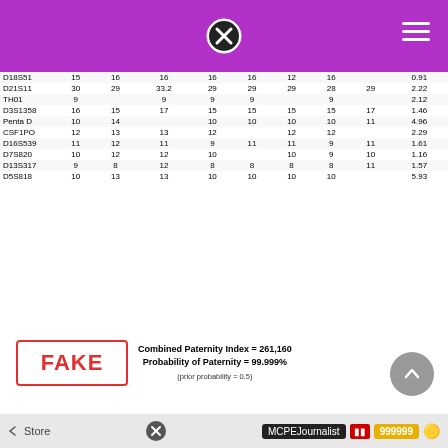[Figure (screenshot): Purple navigation bar with close button and hamburger menu]
| Locus |  |  |  |  |  |  |  |  | PI |
| --- | --- | --- | --- | --- | --- | --- | --- | --- | --- |
| D18S51 | 15 | 16 | 16 | 16 | 16 | 12 | 16 |  | 0.91 |
| D21S11 | 30 | 29 | 33.2 | 29 | 29 | 29 | 28 | 29 | 2.22 |
| TH01 | 9 |  | 9 | 9 | 9 |  | 9 |  | 2.12 |
| D3S1358 | 16 | 15 | 17 | 15 | 15 | 15 | 15 | 17 | 1.46 |
| Penta D | 10 | 14 |  | 10 | 10 | 10 | 10 | 11 | 4.96 |
| CSF1PO | 12 | 13 | 13 | 12 |  | 12 | 12 |  | 2.29 |
| D16S539 | 11 | 12 | 11 | 9 | 11 | 11 | 9 | 11 | 1.61 |
| D7S820 | 10 | 12 | 12 | 10 |  | 10 | 9 | 10 | 1.16 |
| D13S317 | 9 | 8 | 12 | 8 | 8 | 8 | 8 | 11 | 1.57 |
| D5S818 | 10 | 13 | 13 | 10 | 10 | 10 | 10 |  | 5.93 |
Combined Paternity Index = 261,160
Probability of Paternity = 99.999%
(prior probability = 0.5)
FAKE
How To Get Free Minecoins In Minecraft 2022. In this post, we'll share everything about the free minecoins generator, and also show you the real tips to get minecoins for free in 2021! What is the purpose of minecoin?
[Figure (screenshot): Bottom browser bar showing Store, close button, MCPEJournalist, and 999999 coins]